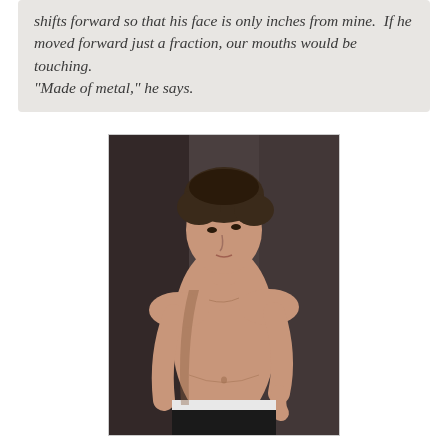shifts forward so that his face is only inches from mine.  If he moved forward just a fraction, our mouths would be touching.
"Made of metal," he says.
[Figure (photo): A shirtless young man with dark wavy hair looking downward, wearing black pants with a white waistband, photographed against a dark studio background.]